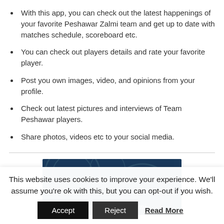With this app, you can check out the latest happenings of your favorite Peshawar Zalmi team and get up to date with matches schedule, scoreboard etc.
You can check out players details and rate your favorite player.
Post you own images, video, and opinions from your profile.
Check out latest pictures and interviews of Team Peshawar players.
Share photos, videos etc to your social media.
[Figure (illustration): Dark blue banner with subtle geometric/circular pattern overlay and white italic text reading 'Connect with Zalmi']
This website uses cookies to improve your experience. We'll assume you're ok with this, but you can opt-out if you wish. Accept Reject Read More